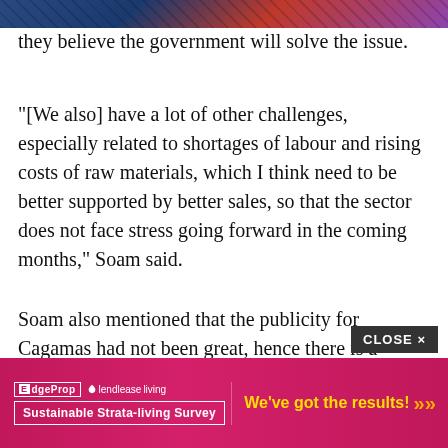[Figure (photo): Partial view of a photograph at the top of the page showing what appears to be electronic devices or similar items with blue, red and purple tones]
they believe the government will solve the issue.
"[We also] have a lot of other challenges, especially related to shortages of labour and rising costs of raw materials, which I think need to be better supported by better sales, so that the sector does not face stress going forward in the coming months," Soam said.
Soam also mentioned that the publicity for Cagamas had not been great, hence there is a
[Figure (screenshot): Advertisement banner at bottom of page: pink/magenta gradient background with EdgeProp and Lendlease Living logos, 'Sustainable Strata-living Survey' text in bordered box, and 'We've got the results!' in yellow text with orange chevrons. A dark 'CLOSE X' button appears above the banner.]